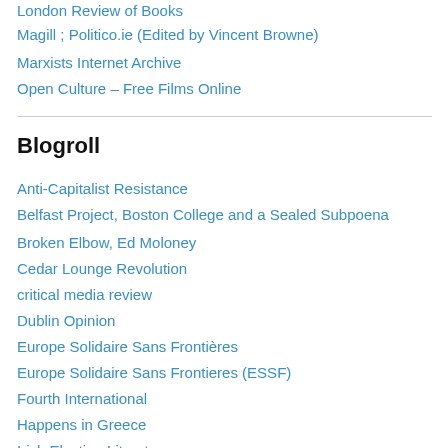London Review of Books
Magill ; Politico.ie (Edited by Vincent Browne)
Marxists Internet Archive
Open Culture – Free Films Online
Blogroll
Anti-Capitalist Resistance
Belfast Project, Boston College and a Sealed Subpoena
Broken Elbow, Ed Moloney
Cedar Lounge Revolution
critical media review
Dublin Opinion
Europe Solidaire Sans Frontières
Europe Solidaire Sans Frontieres (ESSF)
Fourth International
Happens in Greece
Irish Election Literature
Irish Election Literature Blog